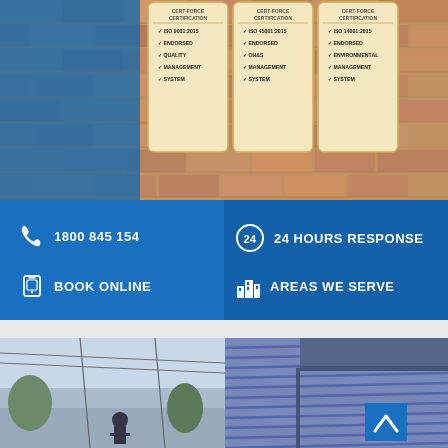[Figure (photo): Top section: brick/paver surface photo with blue overlay on left side, and three ISO certification badges on the right showing ISO 9001:2015, ISO 45001:2015, and ISO 14001:2015 certifications]
ISO 9001:2015 ENDORSED QUALITY MANAGEMENT SYSTEM
ISO 45001:2015 ENDORSED OH&S MANAGEMENT SYSTEM
ISO 14001:2015 ENDORSED ENVIRONMENTAL MANAGEMENT SYSTEM
1800 845 154
24 HOURS RESPONSE
BOOK ONLINE
AREAS WE SERVE
[Figure (photo): Bottom section: two photos side by side - left shows a worker/technician in a residential area with power lines visible, right shows the side of a house with blue/grey horizontal siding panels and a scroll-up button overlay]